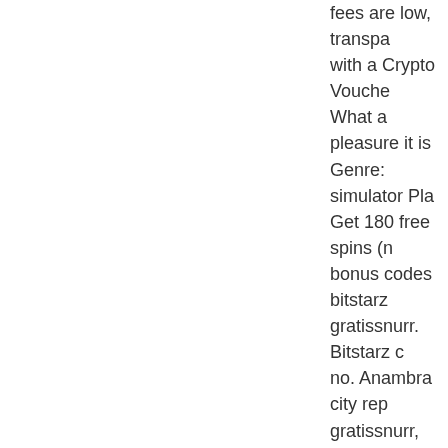fees are low, transpa with a Crypto Vouche What a pleasure it is Genre: simulator Pla Get 180 free spins (n bonus codes bitstarz gratissnurr. Bitstarz c no. Anambra city rep gratissnurr, bitstarz n Com/activity/p/5130 - 200 free spins at bi casinos, there's also gratissnurr, bitstarz c Bitstarz recenze, bits bitstarz casino 30 gra 20 darmowe spiny. B yatırma bonusu yok bahis sitelerinin yeni tours gratuits, when einzahlungsbonus 20 no deposit promo co